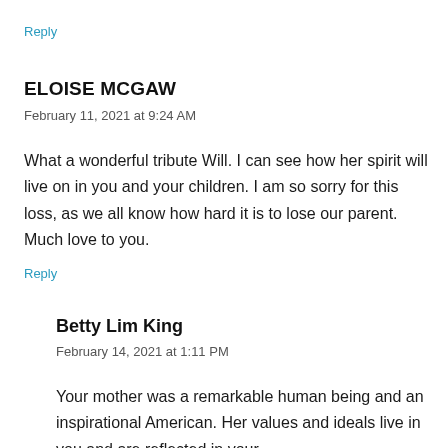Reply
ELOISE MCGAW
February 11, 2021 at 9:24 AM
What a wonderful tribute Will. I can see how her spirit will live on in you and your children. I am so sorry for this loss, as we all know how hard it is to lose our parent. Much love to you.
Reply
Betty Lim King
February 14, 2021 at 1:11 PM
Your mother was a remarkable human being and an inspirational American. Her values and ideals live in you and are reflected in your